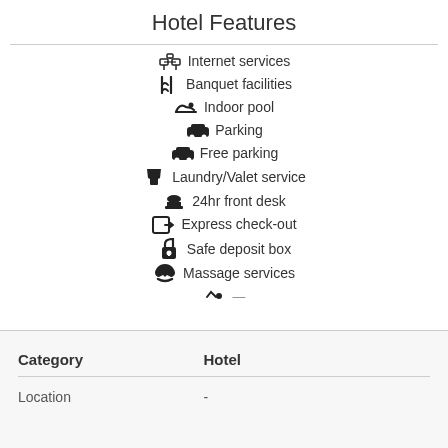Hotel Features
Internet services
Banquet facilities
Indoor pool
Parking
Free parking
Laundry/Valet service
24hr front desk
Express check-out
Safe deposit box
Massage services
| Category | Hotel |
| --- | --- |
| Location | - |